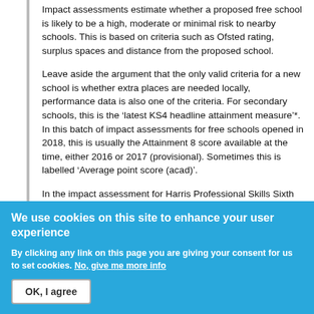Impact assessments estimate whether a proposed free school is likely to be a high, moderate or minimal risk to nearby schools. This is based on criteria such as Ofsted rating, surplus spaces and distance from the proposed school.
Leave aside the argument that the only valid criteria for a new school is whether extra places are needed locally, performance data is also one of the criteria. For secondary schools, this is the ‘latest KS4 headline attainment measure’*. In this batch of impact assessments for free schools opened in 2018, this is usually the Attainment 8 score available at the time, either 2016 or 2017 (provisional). Sometimes this is labelled ‘Average point score (acad)’.
In the impact assessment for Harris Professional Skills Sixth Form in Harris...
We use cookies on this site to enhance your user experience
By clicking any link on this page you are giving your consent for us to set cookies. No, give me more info